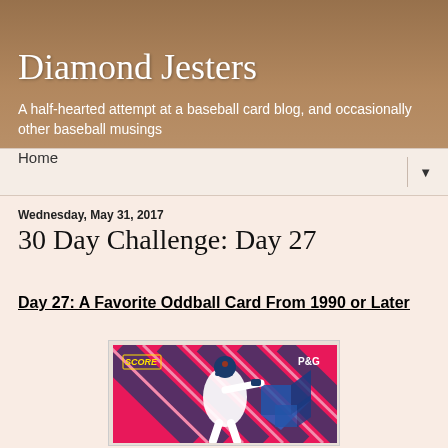Diamond Jesters
A half-hearted attempt at a baseball card blog, and occasionally other baseball musings
Home
Wednesday, May 31, 2017
30 Day Challenge: Day 27
Day 27: A Favorite Oddball Card From 1990 or Later
[Figure (photo): Score P&G baseball card featuring a Toronto Blue Jays pitcher in white uniform on a pink background with diagonal blue stripes and 3D geometric shapes]